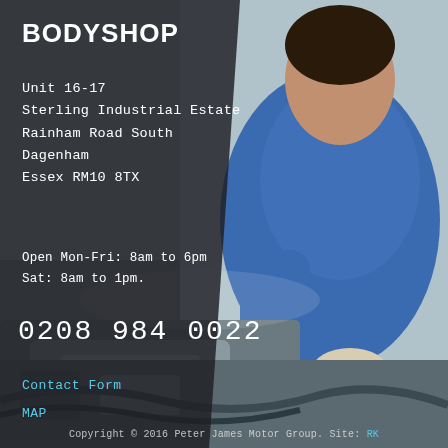[Figure (photo): A mechanic in a blue shirt working on a car engine in a bodyshop, viewed from the side. The background photo covers the full page with a dark overlay on the left side.]
BODYSHOP
Unit 16-17
Sterling Industrial Estate
Rainham Road South
Dagenham
Essex RM10 8TX
Open Mon-Fri: 8am to 6pm
Sat: 8am to 1pm.
0208 984 0022
Contact Form
MAP
Copyright © 2016 Peter James Motor Group. Site: RK